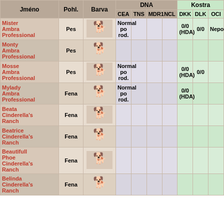| Jméno | Pohl. | Barva | CEA | TNS | MDR1 | NCL | DKK | DLK | OCI |
| --- | --- | --- | --- | --- | --- | --- | --- | --- | --- |
| Mister Ambra Professional | Pes | [dog image] | Normal po rod. |  |  |  | 0/0 (HDA) | 0/0 | Nepos |
| Monty Ambra Professional | Pes | [dog image] |  |  |  |  |  |  |  |
| Mosse Ambra Professional | Pes | [dog image] | Normal po rod. |  |  |  | 0/0 (HDA) | 0/0 |  |
| Mylady Ambra Professional | Fena | [dog image] | Normal po rod. |  |  |  | 0/0 (HDA) |  |  |
| Beata Cinderella's Ranch | Fena | [dog image] |  |  |  |  |  |  |  |
| Beatrice Cinderella's Ranch | Fena | [dog image] |  |  |  |  |  |  |  |
| Beautifull Phoe Cinderella's Ranch | Fena | [dog image] |  |  |  |  |  |  |  |
| Belinda Cinderella's Ranch | Fena | [dog image] |  |  |  |  |  |  |  |